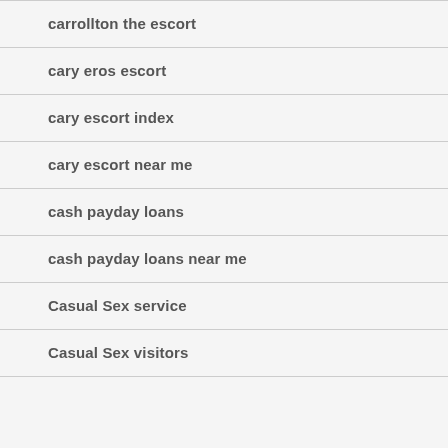carrollton the escort
cary eros escort
cary escort index
cary escort near me
cash payday loans
cash payday loans near me
Casual Sex service
Casual Sex visitors